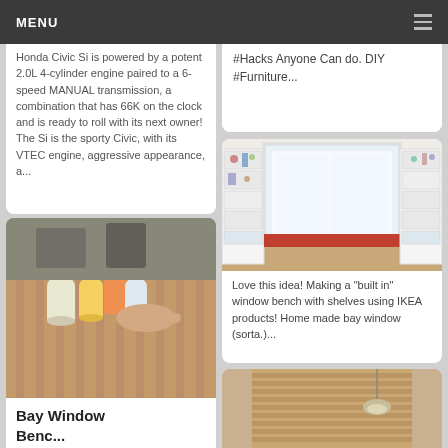MENU
Honda Civic Si is powered by a potent 2.0L 4-cylinder engine paired to a 6-speed MANUAL transmission, a combination that has 66K on the clock and is ready to roll with its next owner! The Si is the sporty Civic, with its VTEC engine, aggressive appearance, a...
[Figure (photo): Jars with colorful drinks on a wooden table, person's hand visible]
Bay Window
Benc...
#Hacks Anyone Can do. DIY #Furniture...
[Figure (photo): Built-in window bench with shelves on both sides of a window, red cushion seat]
Love this idea! Making a &quot;built in&quot; window bench with shelves using IKEA products! Home made bay window (sorta.)...
[Figure (photo): Partial view of a room with wooden blinds and hanging light fixture]